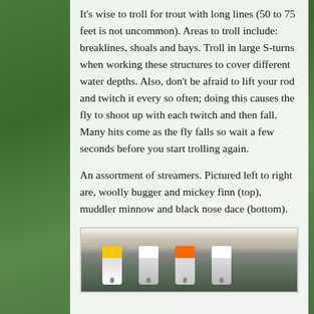It's wise to troll for trout with long lines (50 to 75 feet is not uncommon). Areas to troll include: breaklines, shoals and bays. Troll in large S-turns when working these structures to cover different water depths. Also, don't be afraid to lift your rod and twitch it every so often; doing this causes the fly to shoot up with each twitch and then fall. Many hits come as the fly falls so wait a few seconds before you start trolling again.
An assortment of streamers. Pictured left to right are, woolly bugger and mickey finn (top), muddler minnow and black nose dace (bottom).
[Figure (photo): Photo of assorted fishing streamers/flies including woolly bugger, mickey finn (top), muddler minnow and black nose dace (bottom), shown against a natural background.]